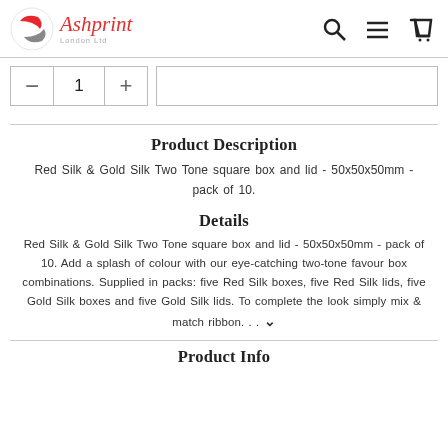Ashprint London Ltd — navigation header with logo, search, menu, and cart icons
- 1 + [Add to cart button placeholder]
Product Description
Red Silk & Gold Silk Two Tone square box and lid - 50x50x50mm - pack of 10.
Details
Red Silk & Gold Silk Two Tone square box and lid - 50x50x50mm - pack of 10. Add a splash of colour with our eye-catching two-tone favour box combinations. Supplied in packs: five Red Silk boxes, five Red Silk lids, five Gold Silk boxes and five Gold Silk lids. To complete the look simply mix & match ribbon. . . ▼
Product Info